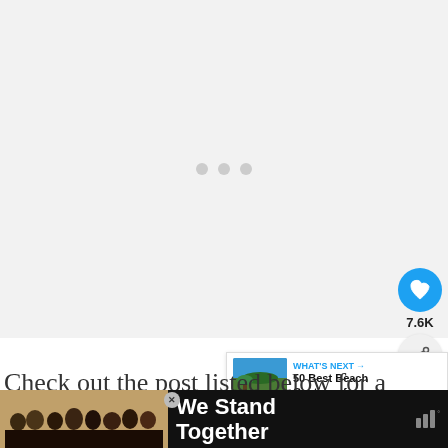[Figure (screenshot): Loading placeholder area with light gray background and three gray dots centered, indicating content is loading]
[Figure (screenshot): Social sharing UI: blue heart/like button with count 7.6K, gray share button, and stacked bar logo icon]
[Figure (screenshot): What's Next panel with beach image thumbnail and text '50 Best Beach Captions for...']
Check out the post listed below for a comprehensive list of all the best cafes in
[Figure (screenshot): Advertisement banner: dark background with people photo on left, 'We Stand Together' white bold text, close X button, and stacked bar wordmark logo on right]